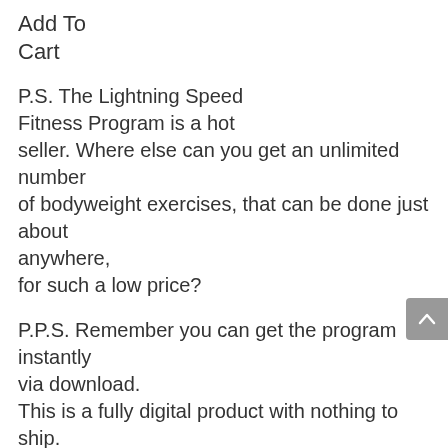Add To Cart
P.S. The Lightning Speed Fitness Program is a hot seller. Where else can you get an unlimited number of bodyweight exercises, that can be done just about anywhere, for such a low price?
P.P.S. Remember you can get the program instantly via download. This is a fully digital product with nothing to ship. There is no waiting. You can put this program to the test five minutes from now.